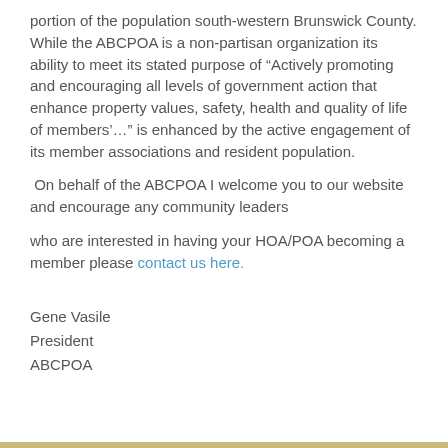portion of the population south-western Brunswick County. While the ABCPOA is a non-partisan organization its ability to meet its stated purpose of “Actively promoting and encouraging all levels of government action that enhance property values, safety, health and quality of life of members’…” is enhanced by the active engagement of its member associations and resident population.
On behalf of the ABCPOA I welcome you to our website and encourage any community leaders
who are interested in having your HOA/POA becoming a member please contact us here.
Gene Vasile
President
ABCPOA